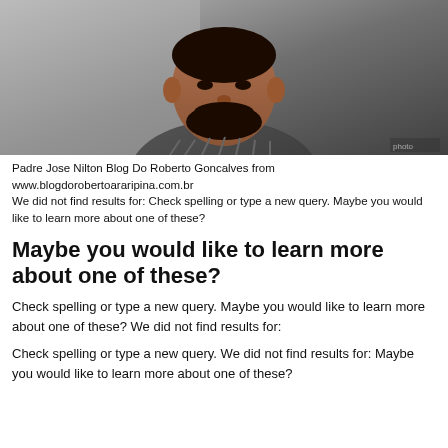[Figure (photo): A man with a beard wearing a striped shirt, photographed from the upper torso up, against a light gray background. This appears to be a video screenshot.]
Padre Jose Nilton Blog Do Roberto Goncalves from www.blogdorobertoararipina.com.br
We did not find results for: Check spelling or type a new query. Maybe you would like to learn more about one of these?
Maybe you would like to learn more about one of these?
Check spelling or type a new query. Maybe you would like to learn more about one of these? We did not find results for:
Check spelling or type a new query. We did not find results for: Maybe you would like to learn more about one of these?